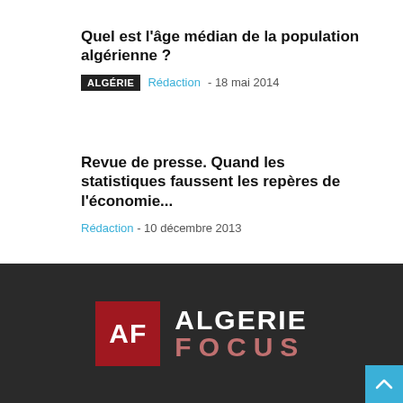Quel est l'âge médian de la population algérienne ?
ALGÉRIE  Rédaction - 18 mai 2014
Revue de presse. Quand les statistiques faussent les repères de l'économie...
Rédaction - 10 décembre 2013
Publicité
[Figure (logo): Algerie Focus logo with red AF box and ALGERIE FOCUS text on dark background]